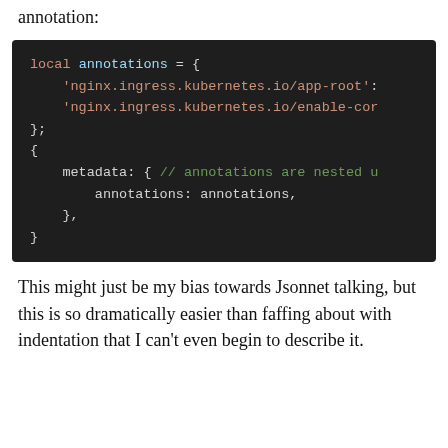annotation:
[Figure (screenshot): Code block on dark background showing Jsonnet code: local annotations = { 'nginx.ingress.kubernetes.io/app-root': ... 'nginx.ingress.kubernetes.io/enable-cor... }; { metadata: { // annotations are nested u annotations: annotations, }, }]
This might just be my bias towards Jsonnet talking, but this is so dramatically easier than faffing about with indentation that I can't even begin to describe it.